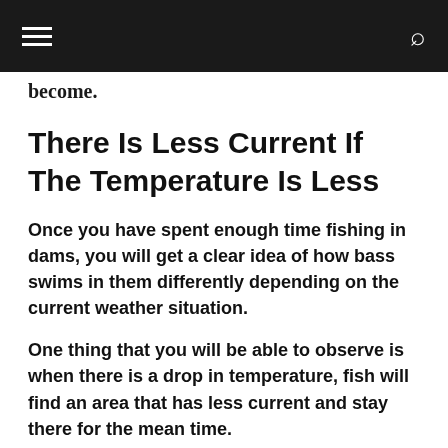≡  🔍
become.
There Is Less Current If The Temperature Is Less
Once you have spent enough time fishing in dams, you will get a clear idea of how bass swims in them differently depending on the current weather situation.
One thing that you will be able to observe is when there is a drop in temperature, fish will find an area that has less current and stay there for the mean time.
During the summer, bass will come from